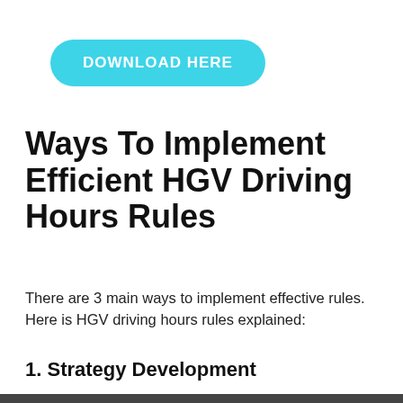[Figure (other): Cyan/light-blue rounded pill-shaped button with white bold text reading DOWNLOAD HERE]
Ways To Implement Efficient HGV Driving Hours Rules
There are 3 main ways to implement effective rules. Here is HGV driving hours rules explained:
1. Strategy Development